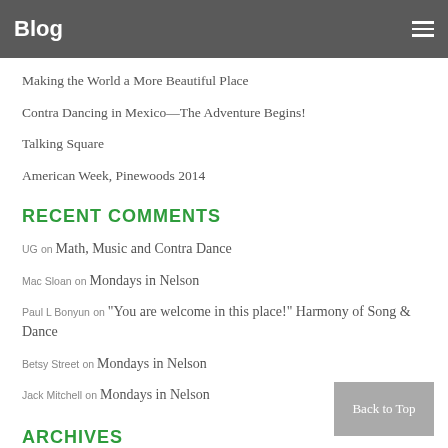Blog
Making the World a More Beautiful Place
Contra Dancing in Mexico—The Adventure Begins!
Talking Square
American Week, Pinewoods 2014
RECENT COMMENTS
UG on Math, Music and Contra Dance
Mac Sloan on Mondays in Nelson
Paul L Bonyun on "You are welcome in this place!" Harmony of Song & Dance
Betsy Street on Mondays in Nelson
Jack Mitchell on Mondays in Nelson
ARCHIVES
July 2016
June 2016
January 2016